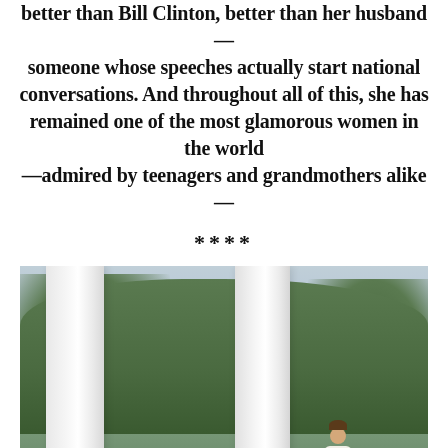better than Bill Clinton, better than her husband—someone whose speeches actually start national conversations. And throughout all of this, she has remained one of the most glamorous women in the world—admired by teenagers and grandmothers alike—
****
[Figure (photo): A woman in a white dress standing on a columned portico with white columns, lush green trees in the background and a manicured lawn, photographed from a distance.]